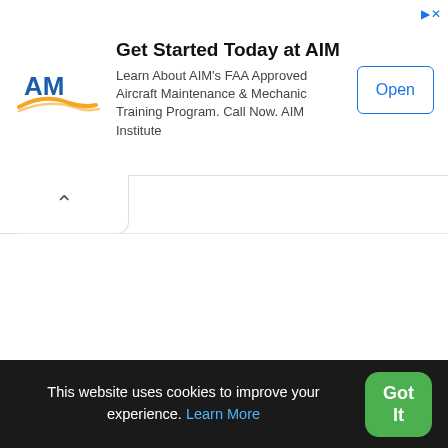[Figure (infographic): AIM Institute advertisement banner with logo, title 'Get Started Today at AIM', body text about FAA Approved Aircraft Maintenance & Mechanic Training Program, and an Open button.]
Get Started Today at AIM
Learn About AIM's FAA Approved Aircraft Maintenance & Mechanic Training Program. Call Now. AIM Institute
App Description
Home is launcher2,tools,home, content rating is Everyone (PEGI-3). This app is rated 3.64 by 28 users who are using this
This website uses cookies to improve your experience. Learn More